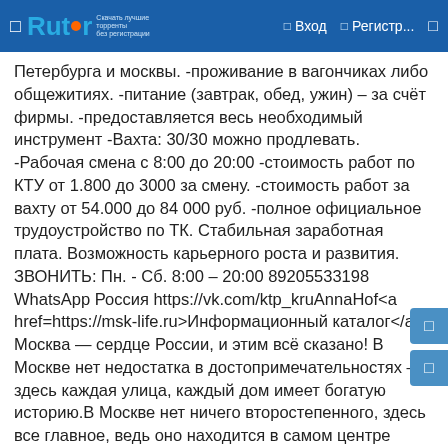Rutor — Вход — Регистр...
Петербурга и москвы. -проживание в вагончиках либо общежитиях. -питание (завтрак, обед, ужин) – за счёт фирмы. -предоставляется весь необходимый инструмент -Вахта: 30/30 можно продлевать. -Рабочая смена с 8:00 до 20:00 -стоимость работ по КТУ от 1.800 до 3000 за смену. -стоимость работ за вахту от 54.000 до 84 000 руб. -полное официальное трудоустройство по ТК. Стабильная заработная плата. Возможность карьерного роста и развития. ЗВОНИТЬ: Пн. - Сб. 8:00 – 20:00 89205533198 WhatsApp Россия https://vk.com/ktp_kruAnnaHof<a href=https://msk-life.ru>Информационный каталог</a>. Москва — сердце России, и этим всё сказано! В Москве нет недостатка в достопримечательностях — здесь каждая улица, каждый дом имеет богатую историю.В Москве нет ничего второстепенного, здесь все главное, ведь оно находится в самом центре самого лучшего государства в мире.В нашем информационном каталоге все Самое интересное о городе-Герое Москва!!! <a href=https://msk-life.ru>All about Moscow</a>. Moscow is the heart of Russia, and the city it! There is no shortage of sights in Moscow.